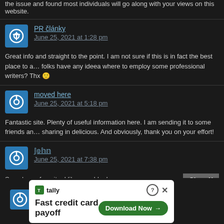the issue and found most individuals will go along with your views on this website.
PR články
June 25, 2021 at 1:28 pm
Great info and straight to the point. I am not sure if this is in fact the best place to ask but do you folks have any ideea where to employ some professional writers? Thx 🙂
moved here
June 25, 2021 at 5:18 pm
Fantastic site. Plenty of useful information here. I am sending it to some friends and also sharing in delicious. And obviously, thank you on your effort!
𝕁𝕠𝕙𝕟
June 25, 2021 at 7:38 pm
Saved as a favorite, I like your blog!
[Figure (screenshot): Tally advertisement banner: 'Fast credit card payoff' with Download Now button]